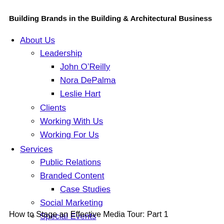Building Brands in the Building & Architectural Business
About Us
Leadership
John O'Reilly
Nora DePalma
Leslie Hart
Clients
Working With Us
Working For Us
Services
Public Relations
Branded Content
Case Studies
Social Marketing
Special Events
Trade Marketing
Inbound Marketing
Blog
Connect
How to Stage an Effective Media Tour: Part 1